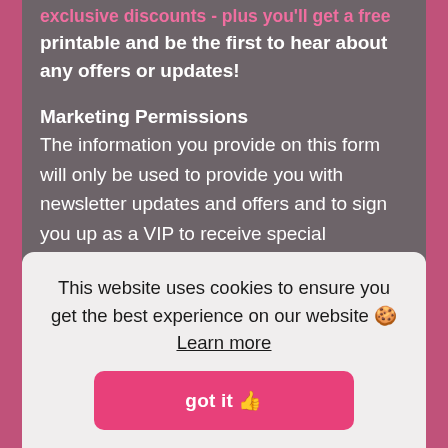exclusive discounts - plus you'll get a free printable and be the first to hear about any offers or updates!
Marketing Permissions
The information you provide on this form will only be used to provide you with newsletter updates and offers and to sign you up as a VIP to receive special discounts. Your privacy is important to me!
This website uses cookies to ensure you get the best experience on our website 🍪 Learn more
got it 👍